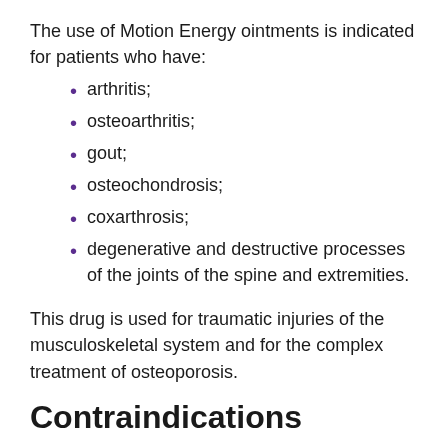The use of Motion Energy ointments is indicated for patients who have:
arthritis;
osteoarthritis;
gout;
osteochondrosis;
coxarthrosis;
degenerative and destructive processes of the joints of the spine and extremities.
This drug is used for traumatic injuries of the musculoskeletal system and for the complex treatment of osteoporosis.
Contraindications
Motion Energy should not be used if the patient is allergic to any of its components. You should also